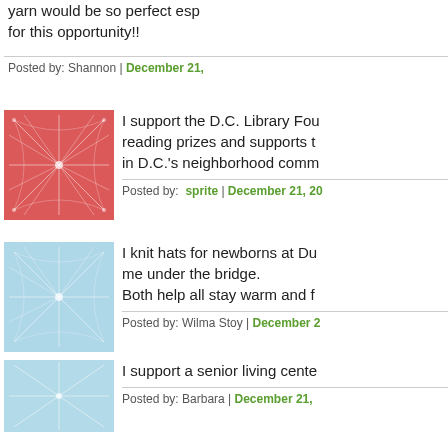yarn would be so perfect esp... for this opportunity!!
Posted by: Shannon | December 21,
[Figure (illustration): Red abstract network pattern avatar image]
I support the D.C. Library Fou... reading prizes and supports t... in D.C.'s neighborhood comm...
Posted by: sprite | December 21, 20
[Figure (illustration): Light blue abstract network pattern avatar image]
I knit hats for newborns at Du... me under the bridge. Both help all stay warm and f...
Posted by: Wilma Stoy | December 2
[Figure (illustration): Light blue abstract network pattern avatar image]
I support a senior living cente...
Posted by: Barbara | December 21,
[Figure (illustration): Light blue abstract network pattern avatar image]
Every year my knitting group... kids and young adults living i...